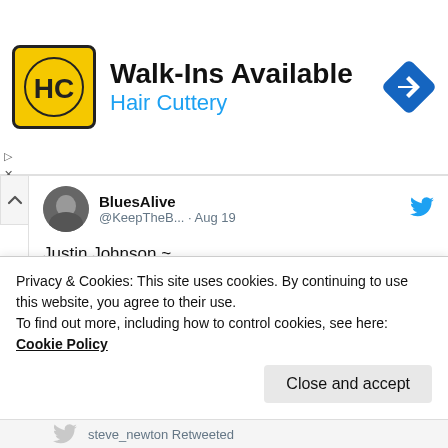[Figure (screenshot): Hair Cuttery advertisement banner showing logo with HC initials on yellow background, 'Walk-Ins Available' heading, 'Hair Cuttery' subtitle in blue, and navigation diamond icon]
BluesAlive @KeepTheB... · Aug 19
Justin Johnson ~ Come Together #Beatles youtu.be/8DE-0hnx5bY
[Figure (screenshot): Video thumbnail showing a musician in a black hat playing guitar in a room with red/warm lighting, with a blue play button overlay]
Privacy & Cookies: This site uses cookies. By continuing to use this website, you agree to their use.
To find out more, including how to control cookies, see here: Cookie Policy
Close and accept